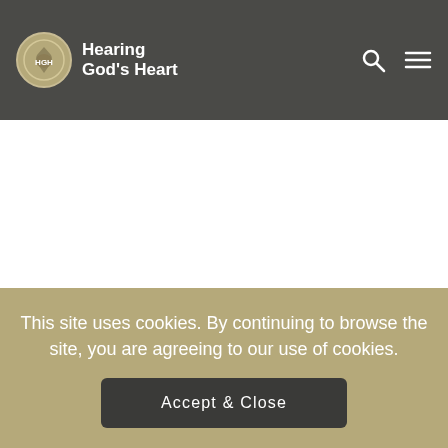Hearing God's Heart
Share this devotional
Share Facebook   Share Twitter
This site uses cookies. By continuing to browse the site, you are agreeing to our use of cookies.
Accept & Close